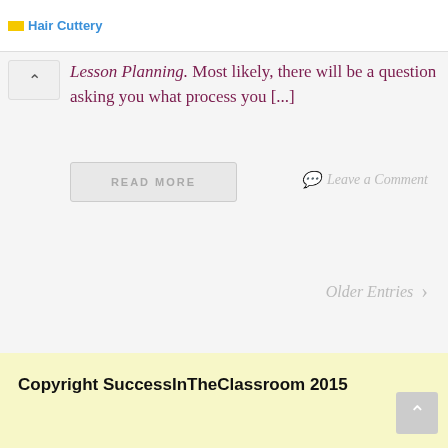Hair Cuttery
Lesson Planning. Most likely, there will be a question asking you what process you [...]
READ MORE
Leave a Comment
Older Entries
Copyright SuccessInTheClassroom 2015